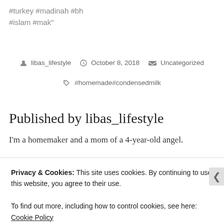#turkey #madinah #bh
#islam #mak"
libas_lifestyle   October 8, 2018   Uncategorized
#homemade#condensedmilk
Published by libas_lifestyle
I'm a homemaker and a mom of a 4-year-old angel.
Privacy & Cookies: This site uses cookies. By continuing to use this website, you agree to their use.
To find out more, including how to control cookies, see here: Cookie Policy
Close and accept